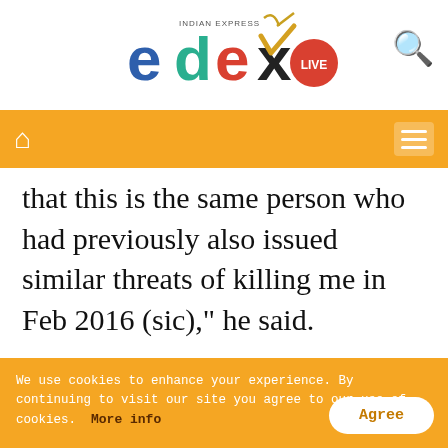[Figure (logo): Edex Live logo with Indian Express branding — colorful letters e(blue), d(green), e(red), x(black checkmark), LIVE in red circle, INDIAN EXPRESS text above]
[Figure (other): Orange navigation bar with white home icon on left and hamburger menu icon on right]
that this is the same person who had previously also issued similar threats of killing me in Feb 2016 (sic)," he said.
ADVERTISEMENT
We use cookies to enhance your experience. By continuing to visit our site you agree to our use of cookies.  More info